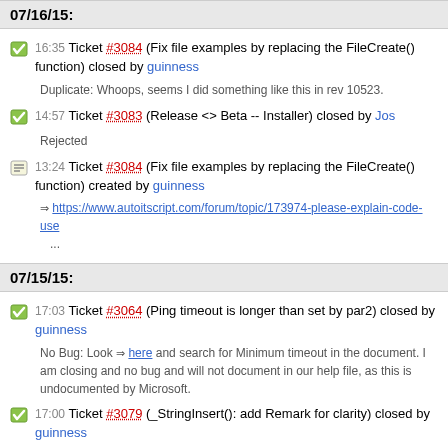07/16/15:
16:35 Ticket #3084 (Fix file examples by replacing the FileCreate() function) closed by guinness
Duplicate: Whoops, seems I did something like this in rev 10523.
14:57 Ticket #3083 (Release <> Beta -- Installer) closed by Jos
Rejected
13:24 Ticket #3084 (Fix file examples by replacing the FileCreate() function) created by guinness
https://www.autoitscript.com/forum/topic/173974-please-explain-code-use ...
07/15/15:
17:03 Ticket #3064 (Ping timeout is longer than set by par2) closed by guinness
No Bug: Look here and search for Minimum timeout in the document. I am closing and no bug and will not document in our help file, as this is undocumented by Microsoft.
17:00 Ticket #3079 (_StringInsert(): add Remark for clarity) closed by guinness
Fixed: Fixed by revision [11419] in version: 3.3.15.1
16:52 Ticket #3078 (bug in _ArrayUnique) closed by guinness
No Bug: Please ensure you have upgraded the UDFs as well.